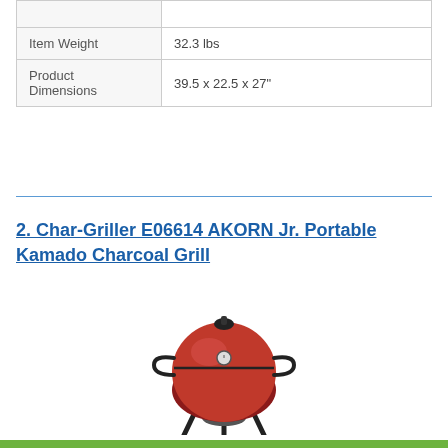|  |  |
| Item Weight | 32.3 lbs |
| Product Dimensions | 39.5 x 22.5 x 27" |
2. Char-Griller E06614 AKORN Jr. Portable Kamado Charcoal Grill
[Figure (photo): Red spherical portable Kamado charcoal grill with black legs and handles, the Char-Griller E06614 AKORN Jr.]